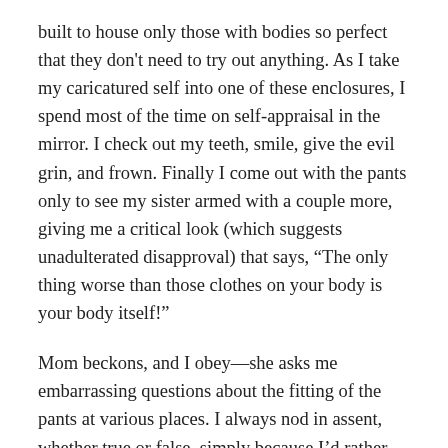built to house only those with bodies so perfect that they don't need to try out anything. As I take my caricatured self into one of these enclosures, I spend most of the time on self-appraisal in the mirror. I check out my teeth, smile, give the evil grin, and frown. Finally I come out with the pants only to see my sister armed with a couple more, giving me a critical look (which suggests unadulterated disapproval) that says, “The only thing worse than those clothes on your body is your body itself!”
Mom beckons, and I obey—she asks me embarrassing questions about the fitting of the pants at various places. I always nod in assent, whether true or false, simply because I’d rather face lifelong discomfort than the ordeal of ramp-walking for my mom and sis.